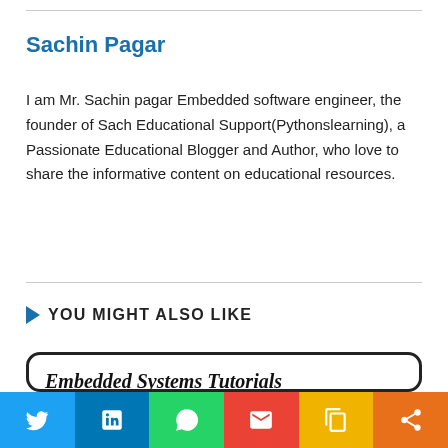Sachin Pagar
I am Mr. Sachin pagar Embedded software engineer, the founder of Sach Educational Support(Pythonslearning), a Passionate Educational Blogger and Author, who love to share the informative content on educational resources.
YOU MIGHT ALSO LIKE
[Figure (screenshot): Card image showing 'Embedded Systems Tutorials Point' and 'What is an Embedded System?' with partially visible third line, styled in bold italic serif font inside a rounded black-bordered card.]
Social share bar: Twitter, LinkedIn, WhatsApp, Email, Copy link, Share